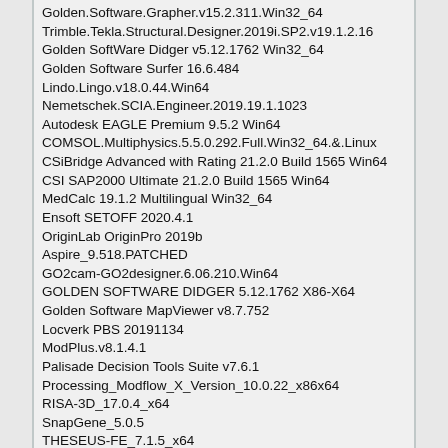Golden.Software.Grapher.v15.2.311.Win32_64
Trimble.Tekla.Structural.Designer.2019i.SP2.v19.1.2.16
Golden SoftWare Didger v5.12.1762 Win32_64
Golden Software Surfer 16.6.484
Lindo.Lingo.v18.0.44.Win64
Nemetschek.SCIA.Engineer.2019.19.1.1023
Autodesk EAGLE Premium 9.5.2 Win64
COMSOL.Multiphysics.5.5.0.292.Full.Win32_64.&.Linux
CSiBridge Advanced with Rating 21.2.0 Build 1565 Win64
CSI SAP2000 Ultimate 21.2.0 Build 1565 Win64
MedCalc 19.1.2 Multilingual Win32_64
Ensoft SETOFF 2020.4.1
OriginLab OriginPro 2019b
Aspire_9.518.PATCHED
GO2cam-GO2designer.6.06.210.Win64
GOLDEN SOFTWARE DIDGER 5.12.1762 X86-X64
Golden Software MapViewer v8.7.752
Locverk PBS 20191134
ModPlus.v8.1.4.1
Palisade Decision Tools Suite v7.6.1
Processing_Modflow_X_Version_10.0.22_x86x64
RISA-3D_17.0.4_x64
SnapGene_5.0.5
THESEUS-FE_7.1.5_x64
Datamine MineTrust 2.26.32 x64